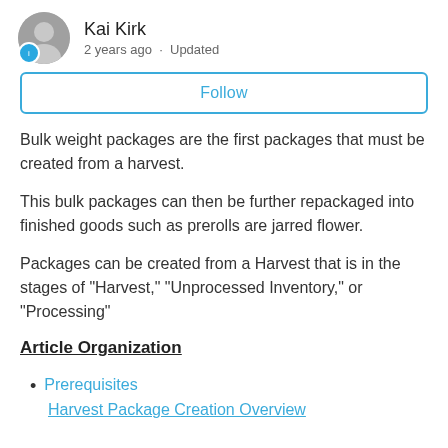Kai Kirk
2 years ago · Updated
Follow
Bulk weight packages are the first packages that must be created from a harvest.
This bulk packages can then be further repackaged into finished goods such as prerolls are jarred flower.
Packages can be created from a Harvest that is in the stages of "Harvest," "Unprocessed Inventory," or "Processing"
Article Organization
Prerequisites
Harvest Package Creation Overview